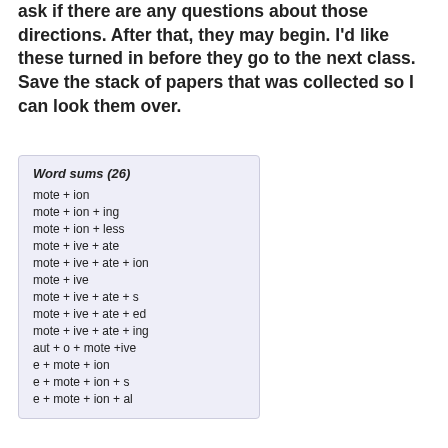ask if there are any questions about those directions. After that, they may begin. I'd like these turned in before they go to the next class.  Save the stack of papers that was collected so I can look them over.
Word sums (26)
mote + ion
mote + ion + ing
mote + ion + less
mote + ive + ate
mote + ive + ate + ion
mote + ive
mote + ive + ate + s
mote + ive + ate + ed
mote + ive + ate + ing
aut + o + mote +ive
e + mote + ion
e + mote + ion + s
e + mote + ion + al